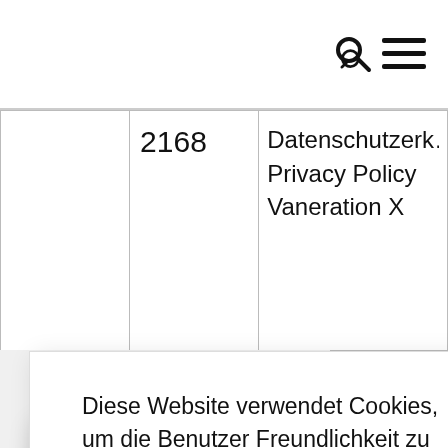|  | 2168 | Datenschutzerkl...
Privacy Policy
Vaneration X |
Diese Website verwendet Cookies, um die Benutzer Freundlichkeit zu verbessern. Wir gehen davon aus, dass du damit einverstanden bist, aber du kannst es auch ablehnen, wenn du möchtest. Settings
Accept
Discard
Impressum Imp...
Vaneration X
Nationalpark T...
Tatry Morskie O...